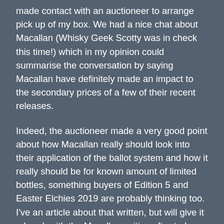made contact with an auctioneer to arrange pick up of my box. We had a nice chat about Macallan (Whisky Geek Scotty was in check this time!) which in my opinion could summarise the conversation by saying Macallan have definitely made an impact to the secondary prices of a few of their recent releases.
Indeed, the auctioneer made a very good point about how Macallan really should look into their application of the ballot system and how it really should be for known amount of limited bottles, something buyers of Edition 5 and Easter Elchies 2019 are probably thinking too. I've an article about that written, but will give it a break with the Macallan writing after today. Just to give your senses a rest if nothing else.